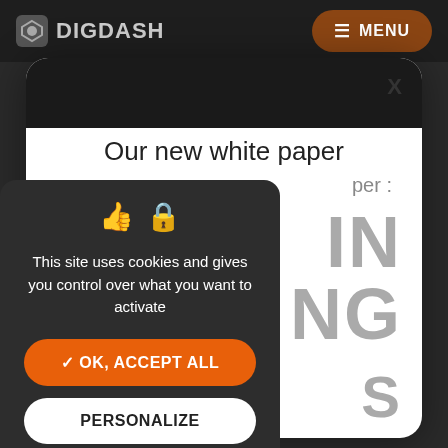DIGDASH  MENU
[Figure (screenshot): White paper modal popup on dark website background showing 'Our new white paper' title with large gray text 'IN NG S' visible behind]
X
Our new white paper
per :
IN
NG
S
This site uses cookies and gives you control over what you want to activate
✓ OK, ACCEPT ALL
PERSONALIZE
PRIVACY POLICY